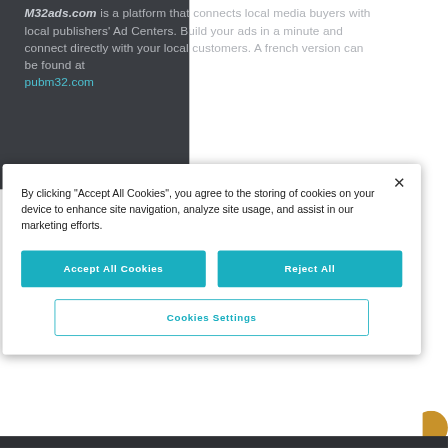M32ads.com is a platform that connects local media buyers with local publishers' Ad Centers. Build your ads in a minute and connect directly with your local customers. A french version can be found at pubm32.com
By clicking "Accept All Cookies", you agree to the storing of cookies on your device to enhance site navigation, analyze site usage, and assist in our marketing efforts.
Accept All Cookies
Reject All
Cookies Settings